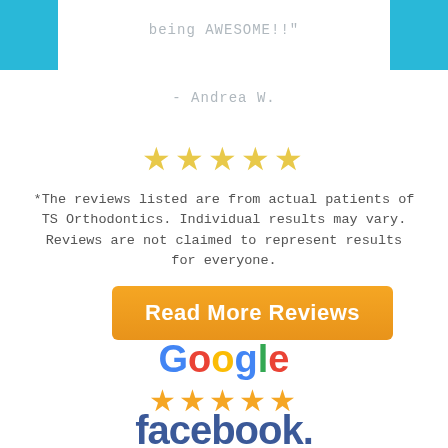being AWESOME!!"
- Andrea W.
[Figure (other): Five gold stars rating]
*The reviews listed are from actual patients of TS Orthodontics. Individual results may vary. Reviews are not claimed to represent results for everyone.
[Figure (other): Orange button with text 'Read More Reviews']
[Figure (logo): Google logo with five gold stars below]
[Figure (logo): Facebook logo text in blue]